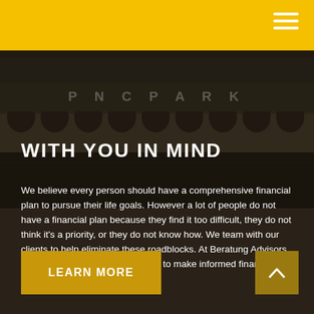WITH YOU IN MIND
We believe every person should have a comprehensive financial plan to pursue their life goals. However a lot of people do not have a financial plan because they find it too difficult, they do not think it's a priority, or they do not know how. We team with our clients to help eliminate these roadblocks. At Beratung Advisors, our mission is to empower clients to make informed financial decisions.
LEARN MORE